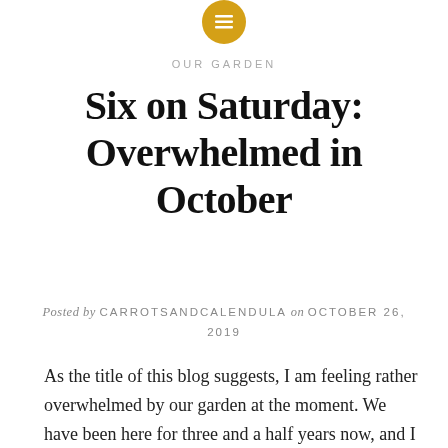[Figure (logo): Golden/yellow circle icon with a menu/lines symbol inside, positioned at the top center of the page]
OUR GARDEN
Six on Saturday: Overwhelmed in October
Posted by CARROTSANDCALENDULA on OCTOBER 26, 2019
As the title of this blog suggests, I am feeling rather overwhelmed by our garden at the moment. We have been here for three and a half years now, and I have done some things that I am pleased with, but the fact of the matter is we inherited an urban garden that was quite heavily landscaped about thirty years ago and